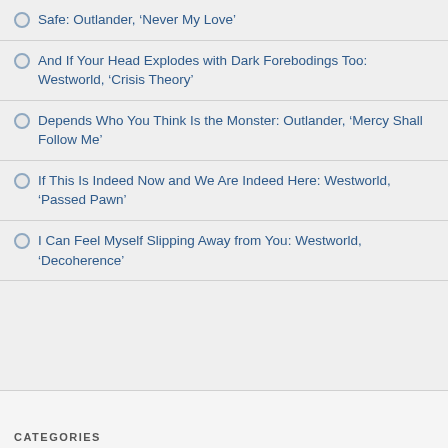Safe: Outlander, ‘Never My Love’
And If Your Head Explodes with Dark Forebodings Too: Westworld, ‘Crisis Theory’
Depends Who You Think Is the Monster: Outlander, ‘Mercy Shall Follow Me’
If This Is Indeed Now and We Are Indeed Here: Westworld, ‘Passed Pawn’
I Can Feel Myself Slipping Away from You: Westworld, ‘Decoherence’
CATEGORIES